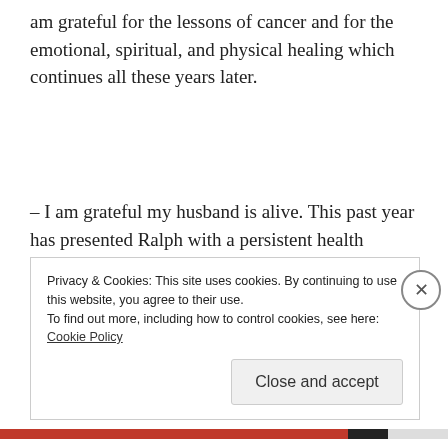am grateful for the lessons of cancer and for the emotional, spiritual, and physical healing which continues all these years later.
– I am grateful my husband is alive. This past year has presented Ralph with a persistent health challenge. His right arm and hand underwent many surgeries to relieve pain from nerve damage. In the process, he ended up
Privacy & Cookies: This site uses cookies. By continuing to use this website, you agree to their use. To find out more, including how to control cookies, see here: Cookie Policy
Close and accept